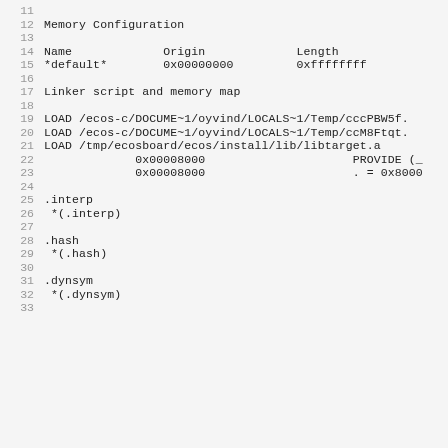11
12  Memory Configuration
13
14  Name             Origin             Length
15  *default*        0x00000000         0xffffffff
16
17  Linker script and memory map
18
19  LOAD /ecos-c/DOCUME~1/oyvind/LOCALS~1/Temp/cccPBW5f.
20  LOAD /ecos-c/DOCUME~1/oyvind/LOCALS~1/Temp/ccM8Ftqt.
21  LOAD /tmp/ecosboard/ecos/install/lib/libtarget.a
22               0x00008000                     PROVIDE (_
23               0x00008000                     . = 0x8000
24
25  .interp
26   *(.interp)
27
28  .hash
29   *(.hash)
30
31  .dynsym
32   *(.dynsym)
33